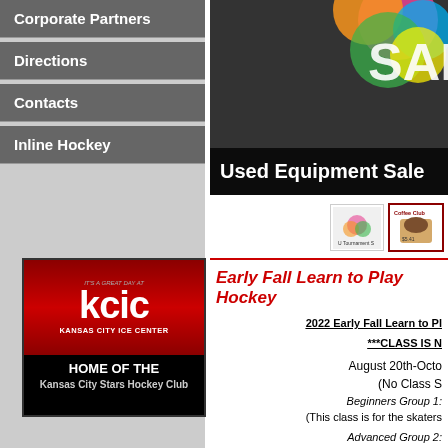Corporate Partners
Directions
Contacts
Inline Hockey
[Figure (logo): KCIC Kansas City Ice Center logo — HOME OF THE Kansas City Stars Hockey Club]
[Figure (photo): Used Equipment Sale banner with colorful circles and SAL text]
[Figure (photo): U Tournament S sponsor logo thumbnail]
[Figure (photo): Coffee Club sponsor logo thumbnail]
Early Fall Learn to Play Hockey
2022 Early Fall Learn to Pl
***CLASS IS N
August 20th-Octo
(No Class S
Beginners Group 1:
(This class is for the skaters
Advanced Group 2:
(This class time is for those that have taken TRB